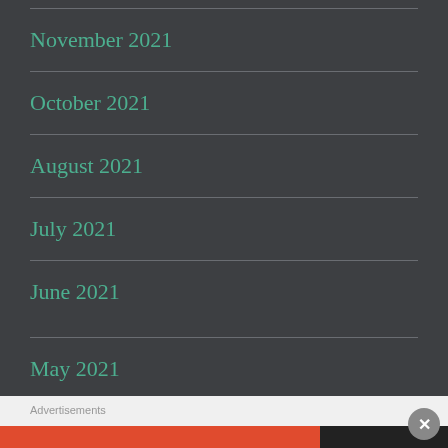November 2021
October 2021
August 2021
July 2021
June 2021
May 2021
Advertisements